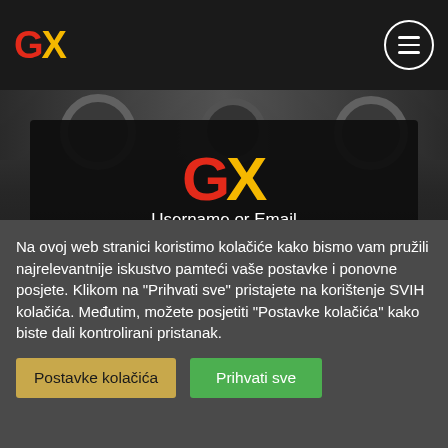GX (logo) — navigation header with menu icon
[Figure (screenshot): Dark gym background with weight plates visible at top]
[Figure (logo): GX logo large — G in red, X in yellow]
Username or Email
Password
Na ovoj web stranici koristimo kolačiće kako bismo vam pružili najrelevantnije iskustvo pamteći vaše postavke i ponovne posjete. Klikom na "Prihvati sve" pristajete na korištenje SVIH kolačića. Međutim, možete posjetiti "Postavke kolačića" kako biste dali kontrolirani pristanak.
Postavke kolačića
Prihvati sve